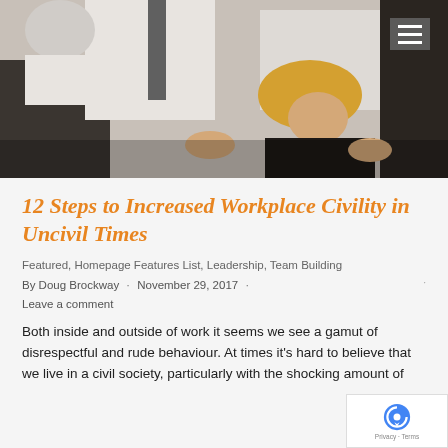[Figure (photo): Workplace conflict photo showing people in heated discussion, woman with blonde hair in black jacket gesturing, others around her in office setting]
12 Steps to Increased Workplace Civility in Uncivil Times
Featured, Homepage Features List, Leadership, Team Building
By Doug Brockway · November 29, 2017 · Leave a comment
Both inside and outside of work it seems we see a gamut of disrespectful and rude behaviour. At times it's hard to believe that we live in a civil society, particularly with the shocking amount of